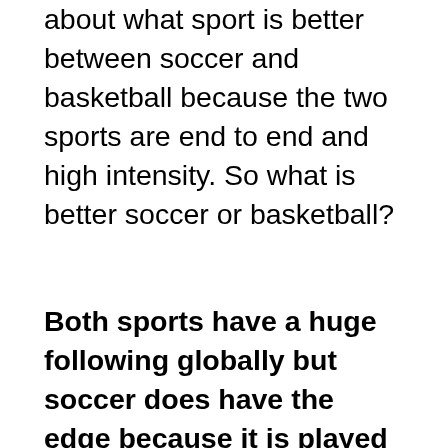about what sport is better between soccer and basketball because the two sports are end to end and high intensity. So what is better soccer or basketball?
Both sports have a huge following globally but soccer does have the edge because it is played at a higher standard across the world as opposed to basketball.
However, the popularity of basketball cannot be understated with the sport being in the top three in America. People probably prefer soccer due to the global attraction and the fact scoring means much more, rather than